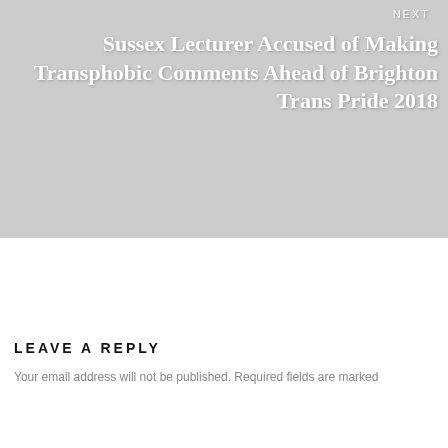[Figure (other): Gray navigation banner with 'NEXT' label and article title overlay]
LEAVE A REPLY
Your email address will not be published. Required fields are marked